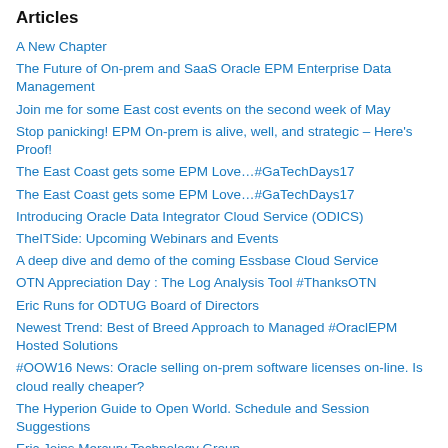Articles
A New Chapter
The Future of On-prem and SaaS Oracle EPM Enterprise Data Management
Join me for some East cost events on the second week of May
Stop panicking! EPM On-prem is alive, well, and strategic – Here's Proof!
The East Coast gets some EPM Love…#GaTechDays17
The East Coast gets some EPM Love…#GaTechDays17
Introducing Oracle Data Integrator Cloud Service (ODICS)
TheITSide: Upcoming Webinars and Events
A deep dive and demo of the coming Essbase Cloud Service
OTN Appreciation Day : The Log Analysis Tool #ThanksOTN
Eric Runs for ODTUG Board of Directors
Newest Trend: Best of Breed Approach to Managed #OraclEPM Hosted Solutions
#OOW16 News: Oracle selling on-prem software licenses on-line. Is cloud really cheaper?
The Hyperion Guide to Open World. Schedule and Session Suggestions
Eric Joins Mercury Technology Group